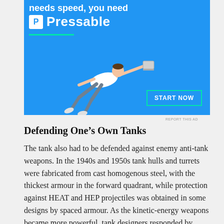[Figure (illustration): Advertisement banner for Pressable web hosting. Blue background with text 'needs speed, you need Pressable', a white P logo icon, a green underline, a person flying horizontally holding a laptop, and a 'START NOW' button with teal border.]
REPORT THIS AD
Defending One’s Own Tanks
The tank also had to be defended against enemy anti-tank weapons. In the 1940s and 1950s tank hulls and turrets were fabricated from cast homogenous steel, with the thickest armour in the forward quadrant, while protection against HEAT and HEP projectiles was obtained in some designs by spaced armour. As the kinetic-energy weapons became more powerful, tank designers responded by sloping the armour, thus effectively